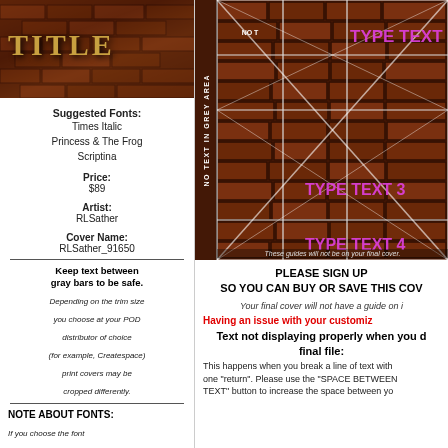[Figure (illustration): Book cover preview with dark brick background and gold title text 'TITLE']
Suggested Fonts:
Times Italic
Princess & The Frog
Scriptina
Price:
$89
Artist:
RLSather
Cover Name:
RLSather_91650
Keep text between
gray bars to be safe.
Depending on the trim size you choose at your POD distributor of choice (for example, Createspace) print covers may be cropped differently.
NOTE ABOUT FONTS:
If you choose the font "InkedGod" and a letter doesn't appear, change it to a lower case letter.
[Figure (illustration): Book cover template preview with grid guide lines and magenta TYPE TEXT 2, TYPE TEXT 3, TYPE TEXT 4 labels on brick background, with vertical NO TEXT IN GREY AREA label]
These guides will not be on your final cover.
PLEASE SIGN UP
SO YOU CAN BUY OR SAVE THIS COVER
Your final cover will not have a guide on it.
Having an issue with your customization?
Text not displaying properly when you download the final file:
This happens when you break a line of text with one "return". Please use the "SPACE BETWEEN TEXT" button to increase the space between your lines.